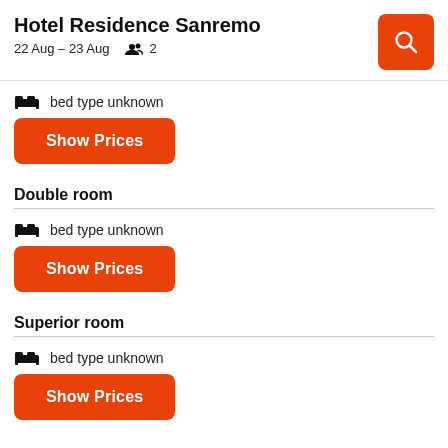Hotel Residence Sanremo
22 Aug – 23 Aug   👥 2
bed type unknown
Show Prices
Double room
bed type unknown
Show Prices
Superior room
bed type unknown
Show Prices